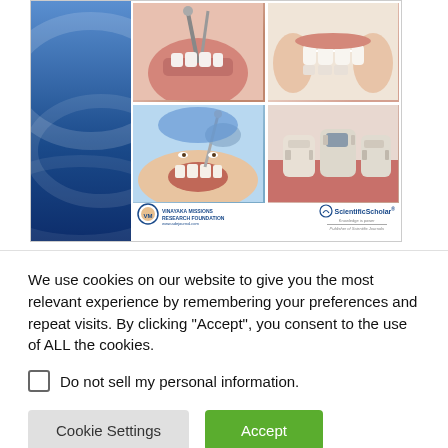[Figure (photo): Dental journal cover showing four dental procedure photos arranged in a 2x2 grid, with a blue decorative sidebar on the left. Bottom shows Vinayaka Missions Research Foundation logo and ScientificScholar publisher logo with www.adejournal.com URL.]
We use cookies on our website to give you the most relevant experience by remembering your preferences and repeat visits. By clicking “Accept”, you consent to the use of ALL the cookies.
Do not sell my personal information.
Cookie Settings
Accept